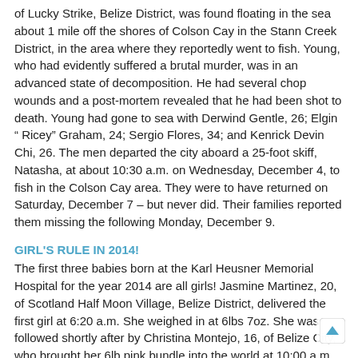of Lucky Strike, Belize District, was found floating in the sea about 1 mile off the shores of Colson Cay in the Stann Creek District, in the area where they reportedly went to fish. Young, who had evidently suffered a brutal murder, was in an advanced state of decomposition. He had several chop wounds and a post-mortem revealed that he had been shot to death. Young had gone to sea with Derwind Gentle, 26; Elgin " Ricey" Graham, 24; Sergio Flores, 34; and Kenrick Devin Chi, 26. The men departed the city aboard a 25-foot skiff, Natasha, at about 10:30 a.m. on Wednesday, December 4, to fish in the Colson Cay area. They were to have returned on Saturday, December 7 – but never did. Their families reported them missing the following Monday, December 9.
GIRL'S RULE IN 2014!
The first three babies born at the Karl Heusner Memorial Hospital for the year 2014 are all girls! Jasmine Martinez, 20, of Scotland Half Moon Village, Belize District, delivered the first girl at 6:20 a.m. She weighed in at 6lbs 7oz. She was followed shortly after by Christina Montejo, 16, of Belize City, who brought her 6lb pink bundle into the world at 10:00 a.m. Finally, Judith Middleton, 22, of Belize City, gave birth at 9:39 p.m. to her 7lb 10oz daughter. "The births of these babies reflect the positivity of life… and hope for the New Year," said KHMH CEO Dr. Francis Longsworth, at a short ceremony honoring the women this morning. All told, the Karl